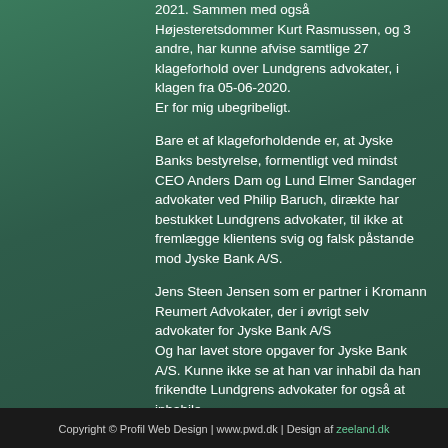2021. Sammen med også Højesteretsdommer Kurt Rasmussen, og 3 andre, har kunne afvise samtlige 27 klageforhold over Lundgrens advokater, i klagen fra 05-06-2020. Er for mig ubegribeligt.
Bare et af klageforholdende er, at Jyske Banks bestyrelse, formentligt ved mindst CEO Anders Dam og Lund Elmer Sandager advokater ved Philip Baruch, dirækte har bestukket Lundgrens advokater, til ikke at fremlægge klientens svig og falsk påstande mod Jyske Bank A/S.
Jens Steen Jensen som er partner i Kromann Reumert Advokater, der i øvrigt selv advokater for Jyske Bank A/S
Og har lavet store opgaver for Jyske Bank A/S. Kunne ikke se at han var inhabil da han frikendte Lundgrens advokater for også at inhabile.
Copyright © Profil Web Design | www.pwd.dk | Design af zeeland.dk